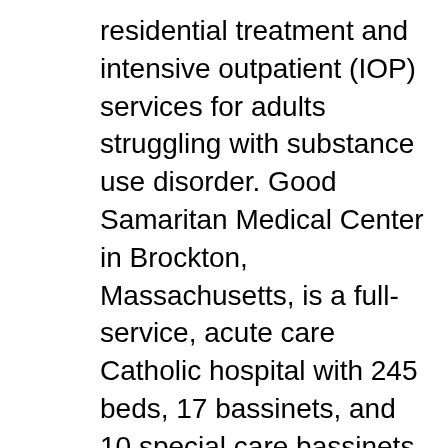residential treatment and intensive outpatient (IOP) services for adults struggling with substance use disorder. Good Samaritan Medical Center in Brockton, Massachusetts, is a full-service, acute care Catholic hospital with 245 beds, 17 bassinets, and 10 special care bassinets. With first-class specialists and state-of-the-art equipment, the hospital provides exceptional clinical services for most health needs
Good Samaritan Hospital Medical Center is an acute care hospital located in West Islip, NY. This acute care hospital has 153 doctor ratings including 82 doctors who are highly-rated. 89% of all